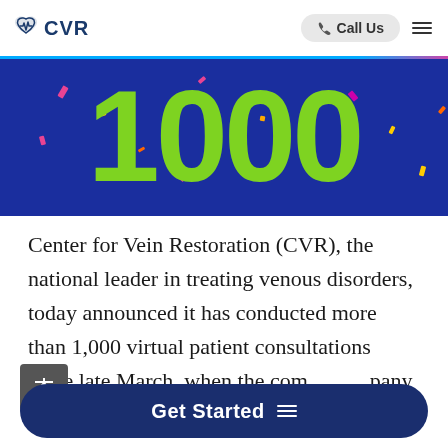CVR — Call Us
[Figure (photo): Banner image with large green text '1000' on a dark blue background with colorful confetti, celebrating 1,000 virtual patient consultations.]
Center for Vein Restoration (CVR), the national leader in treating venous disorders, today announced it has conducted more than 1,000 virtual patient consultations since late March, when the company first launched their telemedicine